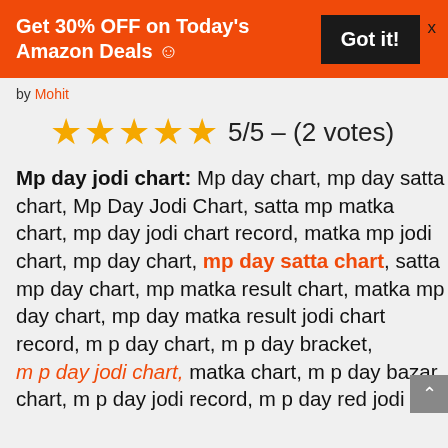[Figure (other): Orange promotional banner with text 'Get 30% OFF on Today's Amazon Deals ☺' and a black 'Got it!' button with an X close button]
by Mohit
[Figure (other): 5 gold stars rating display showing 5/5 - (2 votes)]
Mp day jodi chart: Mp day chart, mp day satta chart, Mp Day Jodi Chart, satta mp matka chart, mp day jodi chart record, matka mp jodi chart, mp day chart, mp day satta chart, satta mp day chart, mp matka result chart, matka mp day chart, mp day matka result jodi chart record, m p day chart, m p day bracket, m p day jodi chart, matka chart, m p day bazar chart, m p day jodi record, m p day red jodi